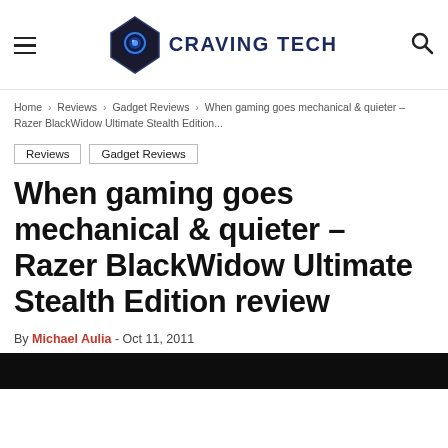CRAVING TECH
Home › Reviews › Gadget Reviews › When gaming goes mechanical & quieter – Razer BlackWidow Ultimate Stealth Edition...
Reviews
Gadget Reviews
When gaming goes mechanical & quieter – Razer BlackWidow Ultimate Stealth Edition review
By Michael Aulia - Oct 11, 2011
[Figure (photo): Dark image strip at bottom of header area, partially visible keyboard or product photo]